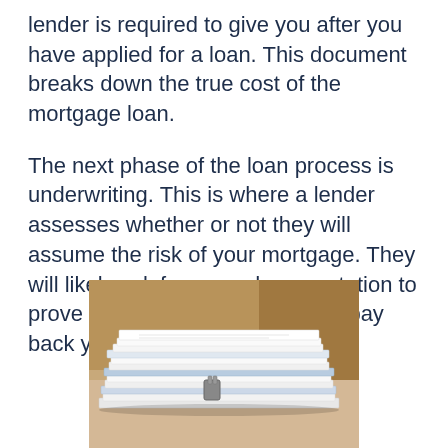lender is required to give you after you have applied for a loan. This document breaks down the true cost of the mortgage loan.
The next phase of the loan process is underwriting. This is where a lender assesses whether or not they will assume the risk of your mortgage. They will likely ask for more documentation to prove they are confident you will pay back your loan.
[Figure (photo): A stack of paper documents/files with binder clips, with a brown wooden cabinet visible in the background.]